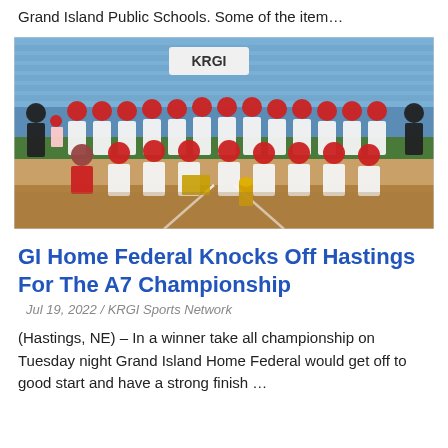Grand Island Public Schools. Some of the item…
[Figure (photo): Baseball team photo with players in white and red uniforms posing on a baseball field at night. A KRGI sign is visible in the background. Players are in two rows, with coaches at the ends. Several players hold trophies and a plaque.]
GI Home Federal Knocks Off Hastings For The A7 Championship
Jul 19, 2022 / KRGI Sports Network
(Hastings, NE) – In a winner take all championship on Tuesday night Grand Island Home Federal would get off to good start and have a strong finish …